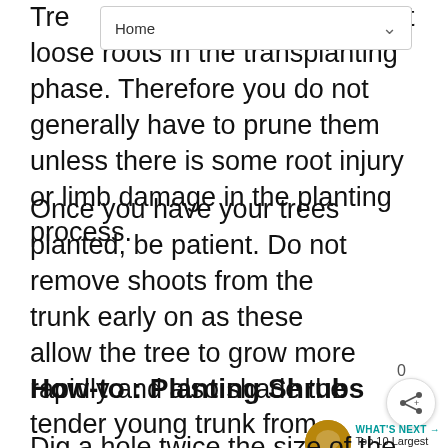Home
Trees do not loose roots in the transplanting phase. Therefore you do not generally have to prune them unless there is some root injury or limb damage in the planting process.
Once you have your trees planted, be patient. Do not remove shoots from the trunk early on as these allow the tree to grow more rapidly and also shade the tender young trunk from sun-scald. Wait a few years to begin training the tree to its ultimate form.
How-to : Planting Shrubs
Dig a hole twice the size of the root ball and